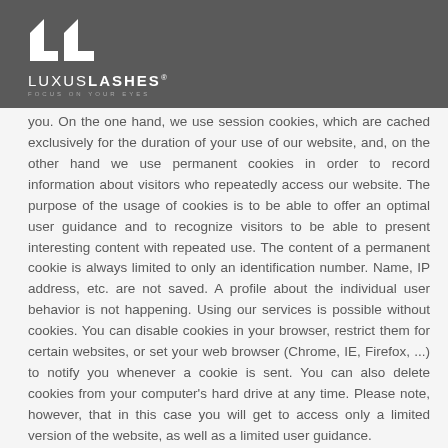[Figure (logo): LuxusLashes logo — white geometric 'LL' mark above text 'LUXUSLASHES®' and tagline 'FOCUS ON YOUR EYES' on a dark grey background]
you. On the one hand, we use session cookies, which are cached exclusively for the duration of your use of our website, and, on the other hand we use permanent cookies in order to record information about visitors who repeatedly access our website. The purpose of the usage of cookies is to be able to offer an optimal user guidance and to recognize visitors to be able to present interesting content with repeated use. The content of a permanent cookie is always limited to only an identification number. Name, IP address, etc. are not saved. A profile about the individual user behavior is not happening. Using our services is possible without cookies. You can disable cookies in your browser, restrict them for certain websites, or set your web browser (Chrome, IE, Firefox, ...) to notify you whenever a cookie is sent. You can also delete cookies from your computer's hard drive at any time. Please note, however, that in this case you will get to access only a limited version of the website, as well as a limited user guidance.